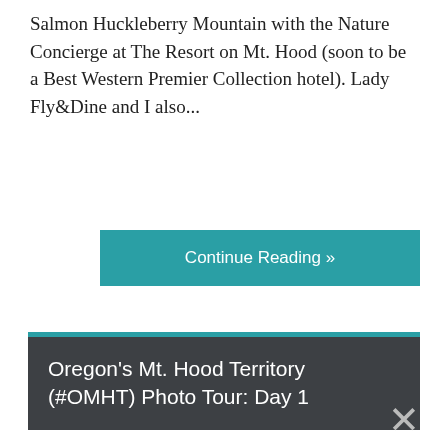Salmon Huckleberry Mountain with the Nature Concierge at The Resort on Mt. Hood (soon to be a Best Western Premier Collection hotel). Lady Fly&Dine and I also...
Continue Reading »
Oregon's Mt. Hood Territory (#OMHT) Photo Tour: Day 1
[Figure (photo): Photo of Mt. Hood territory landscape showing silhouetted trees against a dramatic sky with clouds]
September 25, 2015 by Jason Kessler | 2 Comments
You may have seen pictures. You may have heard stories. You may have imagined it. No matter what, though, nothing can prepare you for the